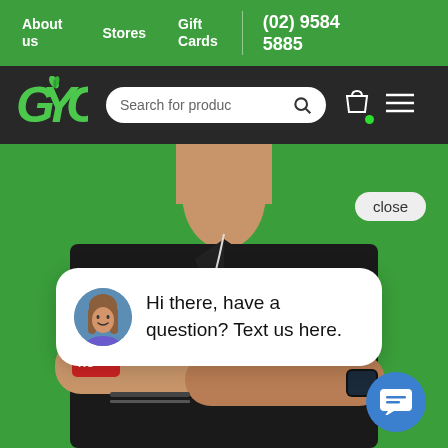About us  Stores  Gift Cards  (02) 9584 5885
[Figure (logo): GYC logo with green leaf accent on dark navigation bar with search bar, shopping bag icon, and hamburger menu]
[Figure (photo): Man in black polo shirt with arms crossed standing against green background]
close
Hi there, have a question? Text us here.